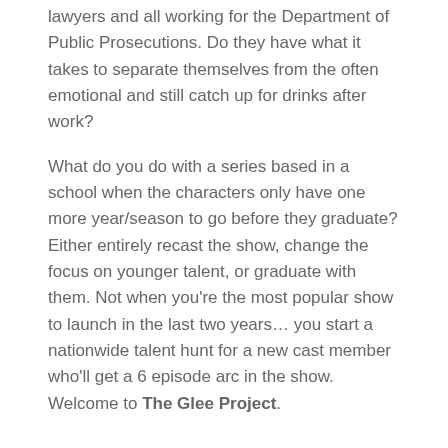lawyers and all working for the Department of Public Prosecutions. Do they have what it takes to separate themselves from the often emotional and still catch up for drinks after work?
What do you do with a series based in a school when the characters only have one more year/season to go before they graduate? Either entirely recast the show, change the focus on younger talent, or graduate with them. Not when you're the most popular show to launch in the last two years… you start a nationwide talent hunt for a new cast member who'll get a 6 episode arc in the show. Welcome to The Glee Project.
Leave a Reply